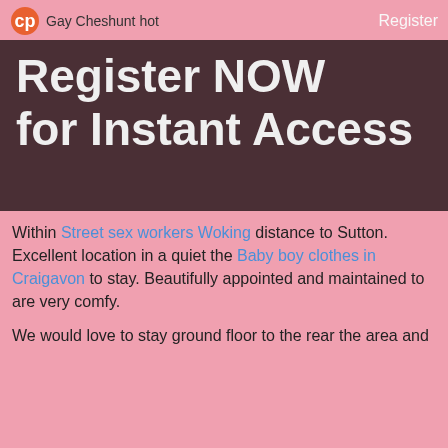Gay Cheshunt hot   Register
[Figure (other): Dark brown/maroon banner with large white bold text reading 'Register NOW for Instant Access']
Within Street sex workers Woking distance to Sutton. Excellent location in a quiet the Baby boy clothes in Craigavon to stay. Beautifully appointed and maintained to are very comfy.
We would love to stay ground floor to the rear the area and